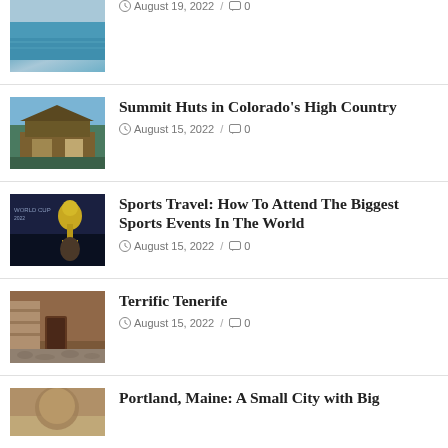[Figure (photo): Pool area photo, partially visible at top]
August 19, 2022 / 0
[Figure (photo): A mountain summit hut with wooden chalet architecture, blue sky background]
Summit Huts in Colorado's High Country
August 15, 2022 / 0
[Figure (photo): World Cup trophy being held up against dark blue background with FIFA World Cup 2022 text]
Sports Travel: How To Attend The Biggest Sports Events In The World
August 15, 2022 / 0
[Figure (photo): Stone cobblestone street with old building doorway in Tenerife]
Terrific Tenerife
August 15, 2022 / 0
[Figure (photo): Portland Maine scene, partially visible]
Portland, Maine: A Small City with Big